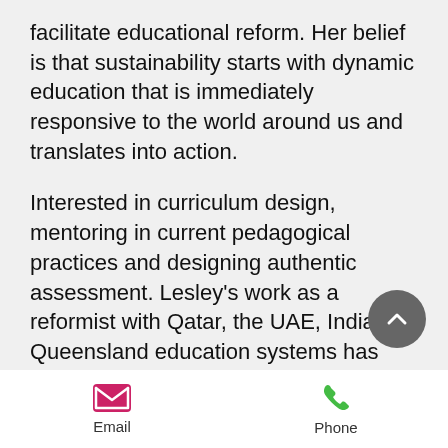facilitate educational reform. Her belief is that sustainability starts with dynamic education that is immediately responsive to the world around us and translates into action.

Interested in curriculum design, mentoring in current pedagogical practices and designing authentic assessment. Lesley's work as a reformist with Qatar, the UAE, India and Queensland education systems has aimed to improve practice to deliver better planners, teachers and assessors.
[Figure (other): Circular scroll-to-top button with upward chevron arrow, grey background]
[Figure (other): Footer navigation bar with Email icon (pink envelope) and Phone icon (green handset) with labels]